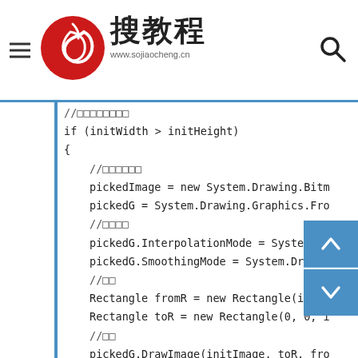搜教程 www.sojiaocheng.cn
[Figure (screenshot): Code block showing C# image processing code with Chinese comments, including if (initWidth > initHeight) block with pickedImage, pickedG, Rectangle, and DrawImage calls]
//□□□□□□□□
if (initWidth > initHeight)
{
    //□□□□□□
    pickedImage = new System.Drawing.Bitm
    pickedG = System.Drawing.Graphics.Fro
    //□□□□
    pickedG.InterpolationMode = System.Dr
    pickedG.SmoothingMode = System.Drawin
    //□□
    Rectangle fromR = new Rectangle(it
    Rectangle toR = new Rectangle(0, 0, i
    //□□
    pickedG.DrawImage(initImage, toR, fro
    //□□□
    initWidth = initHeight;
}